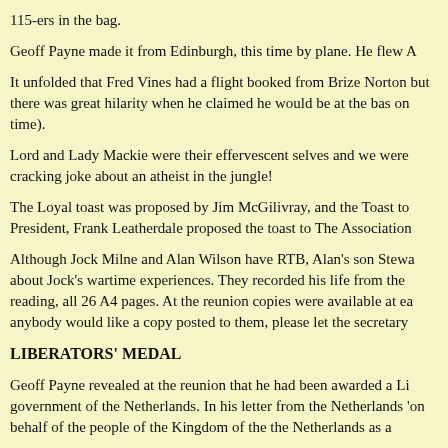115-ers in the bag.
Geoff Payne made it from Edinburgh, this time by plane. He flew A
It unfolded that Fred Vines had a flight booked from Brize Norton but there was great hilarity when he claimed he would be at the bas on time).
Lord and Lady Mackie were their effervescent selves and we were cracking joke about an atheist in the jungle!
The Loyal toast was proposed by Jim McGilivray, and the Toast to President, Frank Leatherdale proposed the toast to The Association
Although Jock Milne and Alan Wilson have RTB, Alan's son Stewa about Jock's wartime experiences. They recorded his life from the reading, all 26 A4 pages. At the reunion copies were available at ea anybody would like a copy posted to them, please let the secretary
LIBERATORS' MEDAL
Geoff Payne revealed at the reunion that he had been awarded a Li government of the Netherlands. In his letter from the Netherlands 'on behalf of the people of the Kingdom of the the Netherlands as a
'This medal is awarded to the liberators of the Kingdom of the Net